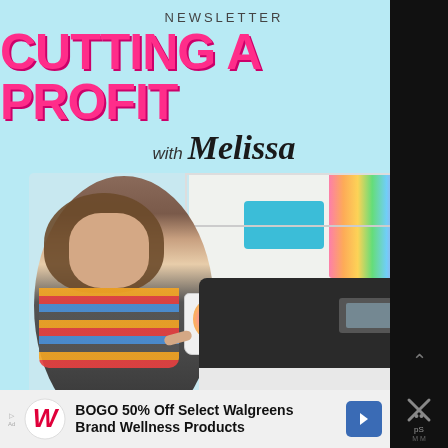NEWSLETTER
CUTTING A PROFIT
with Melissa
[Figure (photo): Woman smiling and holding a decorated tumbler cup, posing next to a large Silhouette cutting machine in a craft room with colorful vinyl rolls on shelves. A 'Silhouette School' logo appears on the machine front.]
BOGO 50% Off Select Walgreens Brand Wellness Products